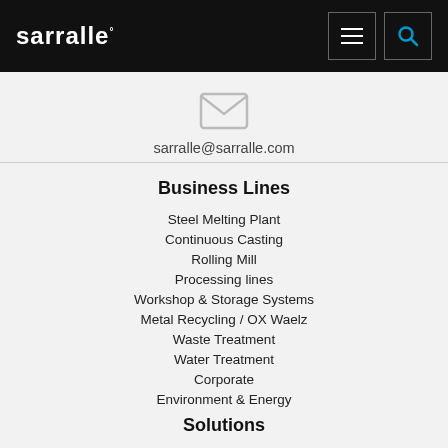[Figure (logo): Sarralle logo in white text on black header bar]
sarralle@sarralle.com
Business Lines
Steel Melting Plant
Continuous Casting
Rolling Mill
Processing lines
Workshop & Storage Systems
Metal Recycling / OX Waelz
Waste Treatment
Water Treatment
Corporate
Environment & Energy
Solutions